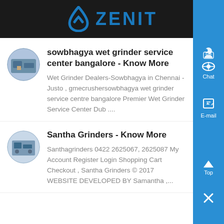ZENIT
sowbhagya wet grinder service center bangalore - Know More
Wet Grinder Dealers-Sowbhagya in Chennai - Justo , gmecrushersowbhagya wet grinder service centre bangalore Premier Wet Grinder Service Center Dub ....
Santha Grinders - Know More
Santhagrinders 0422 2625067, 2625087 My Account Register Login Shopping Cart Checkout , Santha Grinders © 2017 WEBSITE DEVELOPED BY Samantha ,...